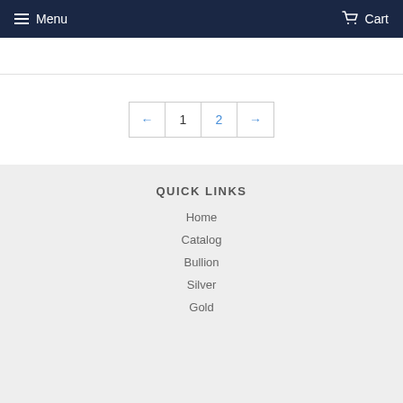Menu   Cart
← 1 2 →
QUICK LINKS
Home
Catalog
Bullion
Silver
Gold